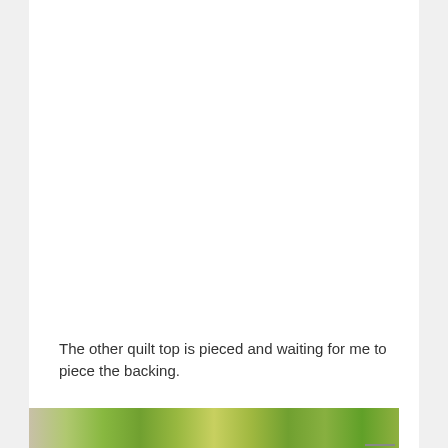The other quilt top is pieced and waiting for me to piece the backing.
[Figure (photo): Partial photo of an outdoor scene with green foliage and trees visible at the bottom of the page]